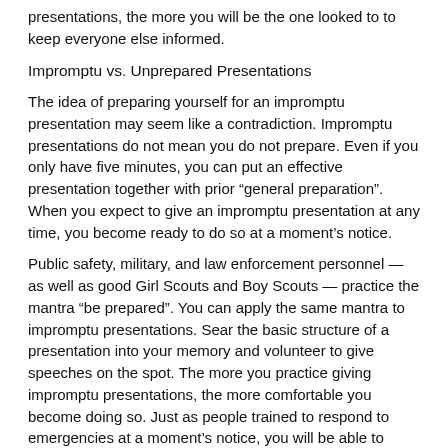presentations, the more you will be the one looked to to keep everyone else informed.
Impromptu vs. Unprepared Presentations
The idea of preparing yourself for an impromptu presentation may seem like a contradiction. Impromptu presentations do not mean you do not prepare. Even if you only have five minutes, you can put an effective presentation together with prior “general preparation”. When you expect to give an impromptu presentation at any time, you become ready to do so at a moment’s notice.
Public safety, military, and law enforcement personnel — as well as good Girl Scouts and Boy Scouts — practice the mantra “be prepared”. You can apply the same mantra to impromptu presentations. Sear the basic structure of a presentation into your memory and volunteer to give speeches on the spot. The more you practice giving impromptu presentations, the more comfortable you become doing so. Just as people trained to respond to emergencies at a moment’s notice, you will be able to respond with a solid presentation at a moment’s notice.
Consider the following key points as well as how to best communicate the content that is necessary for the requested presentation.
Please With Threes
A lesson I teach early in my presentation skills workshops, and that I